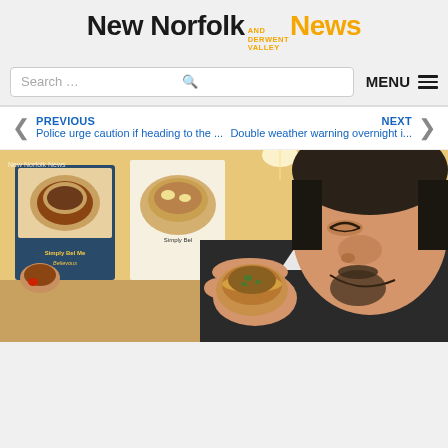[Figure (logo): New Norfolk and Derwent Valley News logo — black bold sans-serif 'New Norfolk' with small stacked orange text 'AND DERWENT VALLEY' and large orange bold 'News']
Search ...
MENU
PREVIOUS
Police urge caution if heading to the ...
NEXT
Double weather warning overnight i...
[Figure (photo): Man smiling and about to eat a small pie/quiche he is holding close to his face, in front of a bakery display with food posters including 'Simply Bel Me Believous' signage. Watermark: New Norfolk News.]